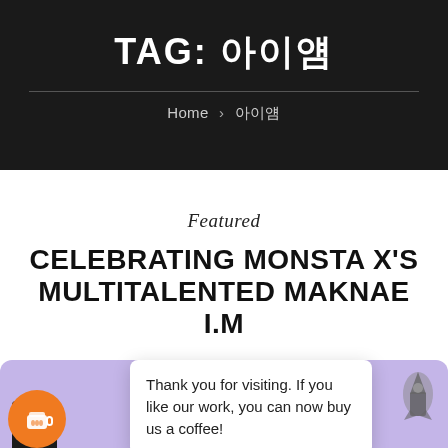TAG: 아이엠
Home > 아이엠
Featured
CELEBRATING MONSTA X'S MULTITALENTED MAKNAE I.M
26 J
20
Thank you for visiting. If you like our work, you can now buy us a coffee!